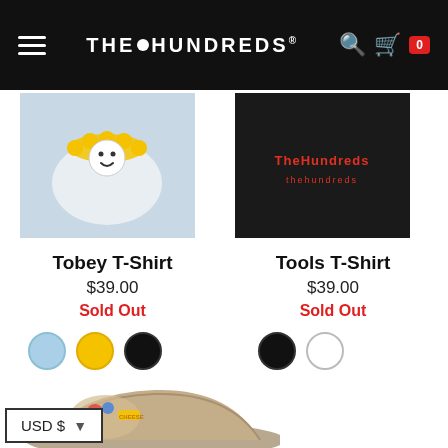THE HUNDREDS — Navigation bar with hamburger menu, logo, search and cart icons
[Figure (photo): Light blue t-shirt with yellow smiley face graphic (partial, top portion of product image)]
[Figure (photo): Black t-shirt with red brand logo text (partial, top portion of product image)]
Tobey T-Shirt
$39.00
Sold Out
Color options: light blue, yellow, black
Tools T-Shirt
$39.00
Sold Out
Color options: black, white
[Figure (photo): Tan/khaki cap with colorful embroidered graphic (partial, bottom of page)]
USD $